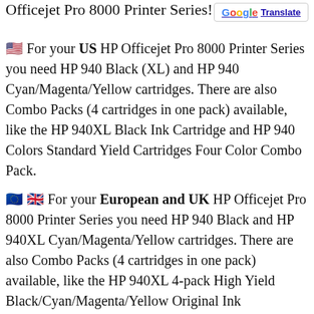Officejet Pro 8000 Printer Series!
🇺🇸 For your US HP Officejet Pro 8000 Printer Series you need HP 940 Black (XL) and HP 940 Cyan/Magenta/Yellow cartridges. There are also Combo Packs (4 cartridges in one pack) available, like the HP 940XL Black Ink Cartridge and HP 940 Colors Standard Yield Cartridges Four Color Combo Pack.
🇪🇺 🇬🇧 For your European and UK HP Officejet Pro 8000 Printer Series you need HP 940 Black and HP 940XL Cyan/Magenta/Yellow cartridges. There are also Combo Packs (4 cartridges in one pack) available, like the HP 940XL 4-pack High Yield Black/Cyan/Magenta/Yellow Original Ink